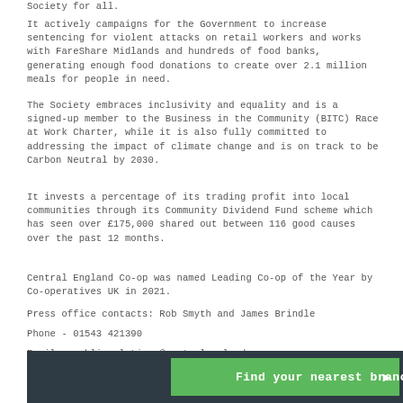Society for all.
It actively campaigns for the Government to increase sentencing for violent attacks on retail workers and works with FareShare Midlands and hundreds of food banks, generating enough food donations to create over 2.1 million meals for people in need.
The Society embraces inclusivity and equality and is a signed-up member to the Business in the Community (BITC) Race at Work Charter, while it is also fully committed to addressing the impact of climate change and is on track to be Carbon Neutral by 2030.
It invests a percentage of its trading profit into local communities through its Community Dividend Fund scheme which has seen over £175,000 shared out between 116 good causes over the past 12 months.
Central England Co-op was named Leading Co-op of the Year by Co-operatives UK in 2021.
Press office contacts: Rob Smyth and James Brindle
Phone - 01543 421390
Email - publicrelations@centralengland.coop
[Figure (other): Dark grey footer banner with green 'Find your nearest branch' button with arrow]